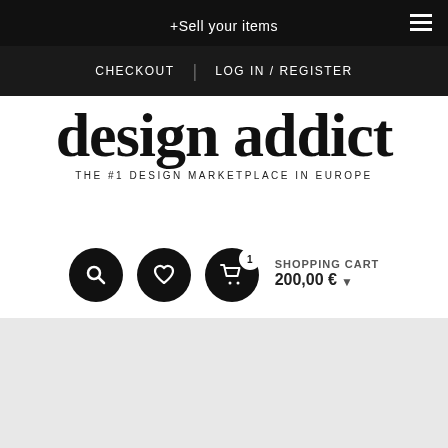+Sell your items
CHECKOUT | LOG IN / REGISTER
design addict
THE #1 DESIGN MARKETPLACE IN EUROPE
[Figure (screenshot): Shopping cart UI with search icon, heart/wishlist icon, cart icon with badge showing 1 item, and text SHOPPING CART 200,00 €]
[Figure (photo): Gray placeholder area at bottom of page]